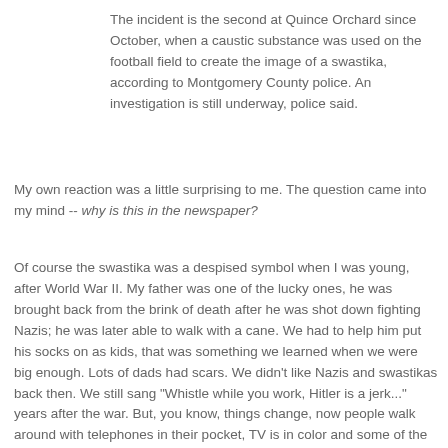The incident is the second at Quince Orchard since October, when a caustic substance was used on the football field to create the image of a swastika, according to Montgomery County police. An investigation is still underway, police said.
My own reaction was a little surprising to me. The question came into my mind -- why is this in the newspaper?
Of course the swastika was a despised symbol when I was young, after World War II. My father was one of the lucky ones, he was brought back from the brink of death after he was shot down fighting Nazis; he was later able to walk with a cane. We had to help him put his socks on as kids, that was something we learned when we were big enough. Lots of dads had scars. We didn't like Nazis and swastikas back then. We still sang "Whistle while you work, Hitler is a jerk..." years after the war. But, you know, things change, now people walk around with telephones in their pocket, TV is in color and some of the new screens almost look real, I haven't seen a typewriter in ages.